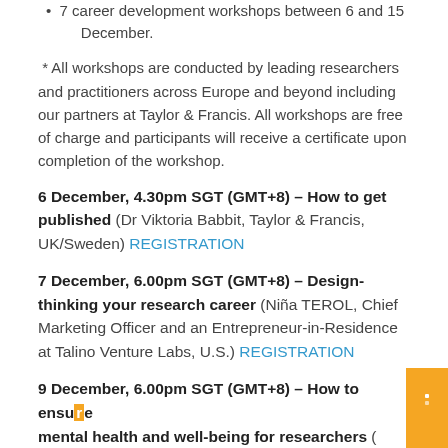7 career development workshops between 6 and 15 December.
* All workshops are conducted by leading researchers and practitioners across Europe and beyond including our partners at Taylor & Francis. All workshops are free of charge and participants will receive a certificate upon completion of the workshop.
6 December, 4.30pm SGT (GMT+8) – How to get published (Dr Viktoria Babbit, Taylor & Francis, UK/Sweden) REGISTRATION
7 December, 6.00pm SGT (GMT+8) – Design-thinking your research career (Niña TEROL, Chief Marketing Officer and an Entrepreneur-in-Residence at Talino Venture Labs, U.S.) REGISTRATION
9 December, 6.00pm SGT (GMT+8) – How to ensure mental health and well-being for researchers (Brian Cahill, Leibniz Institute.